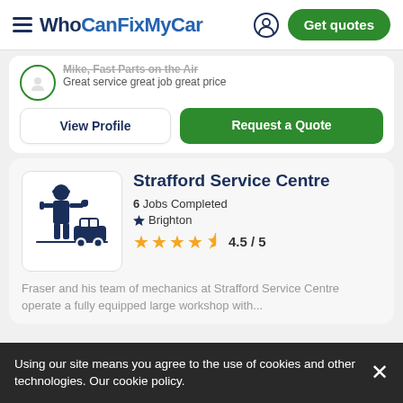WhoCanFixMyCar — Get quotes
Great service great job great price
View Profile | Request a Quote
Strafford Service Centre
6 Jobs Completed
Brighton
4.5 / 5
Fraser and his team of mechanics at Strafford Service Centre operate a fully equipped large workshop with...
Using our site means you agree to the use of cookies and other technologies. Our cookie policy.